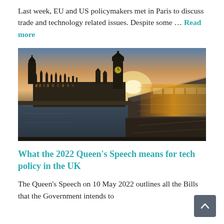Last week, EU and US policymakers met in Paris to discuss trade and technology related issues. Despite some … Read more
[Figure (photo): Panoramic photograph of the Houses of Parliament (Palace of Westminster) and Big Ben at sunset/dusk, viewed from across the Thames, with a motion-blurred bus in the foreground on Westminster Bridge.]
What the 2022 Queen's Speech means for tech policy in the UK
The Queen's Speech on 10 May 2022 outlines all the Bills that the Government intends to